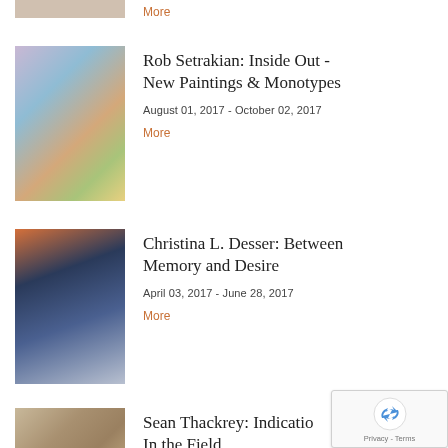[Figure (photo): Partial thumbnail image at top of page, cropped]
More
[Figure (photo): Abstract colorful painting thumbnail for Rob Setrakian exhibition]
Rob Setrakian: Inside Out - New Paintings & Monotypes
August 01, 2017 - October 02, 2017
More
[Figure (photo): Photo thumbnail of a person for Christina L. Desser exhibition]
Christina L. Desser: Between Memory and Desire
April 03, 2017 - June 28, 2017
More
[Figure (photo): Textured surface thumbnail for Sean Thackrey exhibition]
Sean Thackrey: Indicatio In the Field